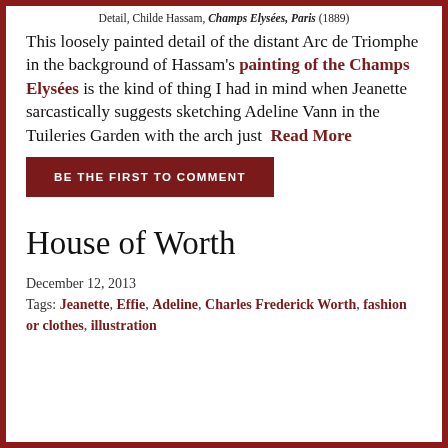Detail, Childe Hassam, Champs Elysées, Paris (1889)
This loosely painted detail of the distant Arc de Triomphe in the background of Hassam's painting of the Champs Elysées is the kind of thing I had in mind when Jeanette sarcastically suggests sketching Adeline Vann in the Tuileries Garden with the arch just  Read More
BE THE FIRST TO COMMENT
House of Worth
December 12, 2013
Tags: Jeanette, Effie, Adeline, Charles Frederick Worth, fashion or clothes, illustration